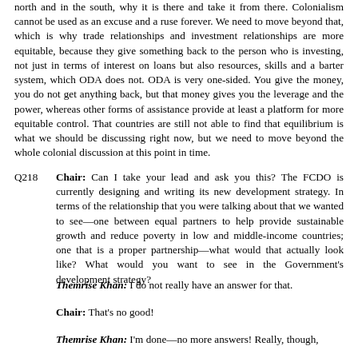north and in the south, why it is there and take it from there. Colonialism cannot be used as an excuse and a ruse forever. We need to move beyond that, which is why trade relationships and investment relationships are more equitable, because they give something back to the person who is investing, not just in terms of interest on loans but also resources, skills and a barter system, which ODA does not. ODA is very one-sided. You give the money, you do not get anything back, but that money gives you the leverage and the power, whereas other forms of assistance provide at least a platform for more equitable control. That countries are still not able to find that equilibrium is what we should be discussing right now, but we need to move beyond the whole colonial discussion at this point in time.
Q218   Chair: Can I take your lead and ask you this? The FCDO is currently designing and writing its new development strategy. In terms of the relationship that you were talking about that we wanted to see—one between equal partners to help provide sustainable growth and reduce poverty in low and middle-income countries; one that is a proper partnership—what would that actually look like? What would you want to see in the Government's development strategy?
Themrise Khan: I do not really have an answer for that.
Chair: That's no good!
Themrise Khan: I'm done—no more answers! Really, though,